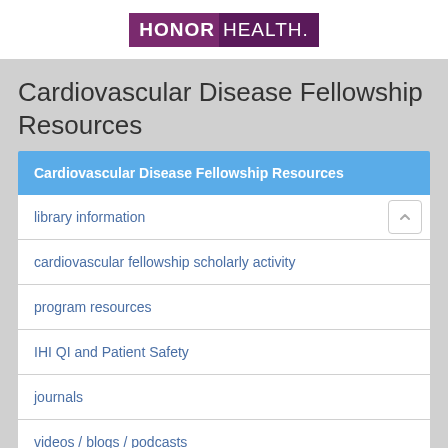[Figure (logo): HonorHealth logo with purple background, HONOR in bold white and HEALTH in lighter purple]
Cardiovascular Disease Fellowship Resources
Cardiovascular Disease Fellowship Resources
library information
cardiovascular fellowship scholarly activity
program resources
IHI QI and Patient Safety
journals
videos / blogs / podcasts
professional organizations